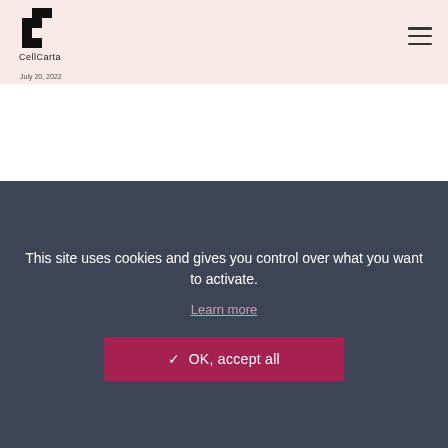[Figure (logo): CellCarta logo — black pixel/square pattern forming letter C, with 'CellCarta' text below]
July 20, 2022
This site uses cookies and gives you control over what you want to activate.
Learn more
✓  OK, accept all